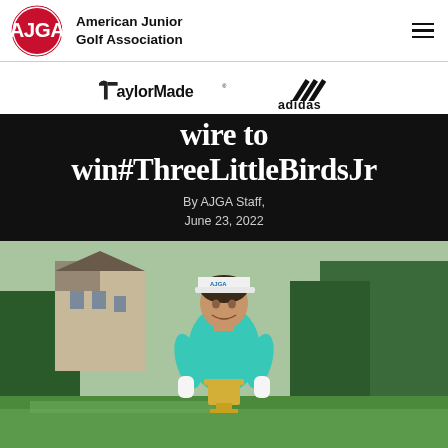American Junior Golf Association
[Figure (logo): TaylorMade and adidas sponsor logos]
wire to win#ThreeLittleBirdsJr
By AJGA Staff, June 23, 2022
[Figure (photo): Young female golfer wearing AJGA cap and teal polo shirt, smiling outdoors on a golf course, holding a trophy. Building and trees visible in background.]